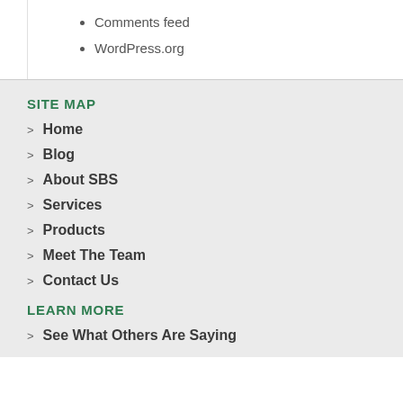Comments feed
WordPress.org
SITE MAP
Home
Blog
About SBS
Services
Products
Meet The Team
Contact Us
LEARN MORE
See What Others Are Saying